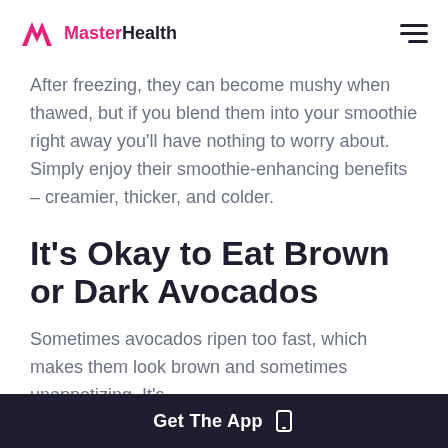MasterHealth
After freezing, they can become mushy when thawed, but if you blend them into your smoothie right away you'll have nothing to worry about. Simply enjoy their smoothie-enhancing benefits – creamier, thicker, and colder.
It's Okay to Eat Brown or Dark Avocados
Sometimes avocados ripen too fast, which makes them look brown and sometimes unappetizing. It's
Get The App